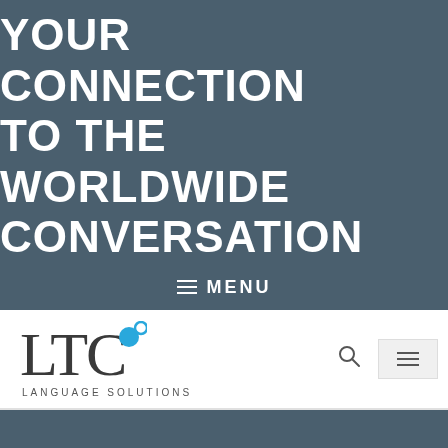YOUR CONNECTION TO THE WORLDWIDE CONVERSATION
≡ MENU
[Figure (logo): LTC Language Solutions logo with stylized letters LTC and a blue dot accent, subtitle reads LANGUAGE SOLUTIONS]
ELK